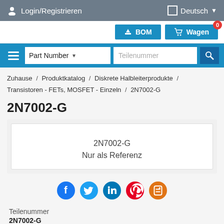Login/Registrieren   Deutsch
BOM   Wagen  0
Part Number  Teilenummer
Zuhause / Produktkatalog / Diskrete Halbleiterprodukte / Transistoren - FETs, MOSFET - Einzeln / 2N7002-G
2N7002-G
2N7002-G
Nur als Referenz
[Figure (illustration): Social media share icons: Facebook (blue), Twitter (light blue), LinkedIn (blue), Pinterest (red), Blogger (orange)]
Teilenummer
2N7002-G
Hersteller